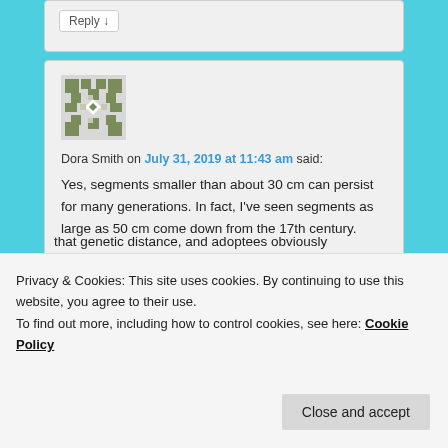Reply ↓
Dora Smith on July 31, 2019 at 11:43 am said:
[Figure (illustration): Generic avatar icon — a geometric green/grey pixel-art style square icon with diamond/cross pattern]
Yes, segments smaller than about 30 cm can persist for many generations. In fact, I've seen segments as large as 50 cm come down from the 17th century.

What is the danger in that? People need to KNOW
Privacy & Cookies: This site uses cookies. By continuing to use this website, you agree to their use.
To find out more, including how to control cookies, see here: Cookie Policy
Close and accept
that genetic distance, and adoptees obviously